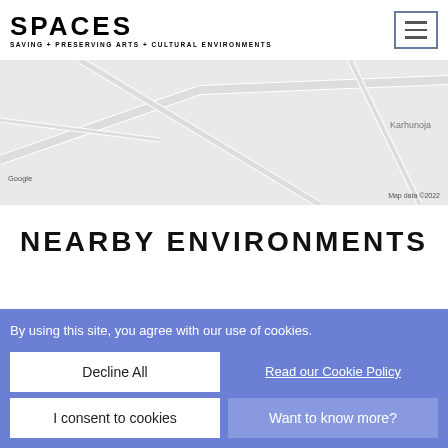[Figure (logo): SPACES logo — bold blocky text 'SPACES' with tagline 'SAVING + PRESERVING ARTS + CULTURAL ENVIRONMENTS']
[Figure (map): Google Maps screenshot showing street map with 'Karhunoja' label and road network on light grey background]
Google
Map data ©2022
VIEW LARGER MAP IN NEW WINDOW
NEARBY ENVIRONMENTS
By using this site, you agree with our use of cookies.
Decline All
Read our Cookie Policy
I consent to cookies
Want to know more?